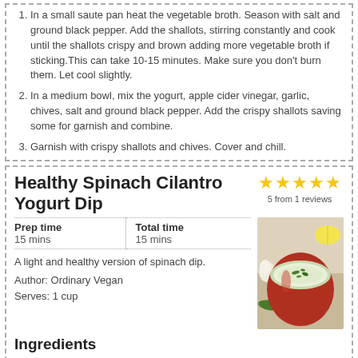In a small saute pan heat the vegetable broth. Season with salt and ground black pepper. Add the shallots, stirring constantly and cook until the shallots crispy and brown adding more vegetable broth if sticking.This can take 10-15 minutes. Make sure you don't burn them. Let cool slightly.
In a medium bowl, mix the yogurt, apple cider vinegar, garlic, chives, salt and ground black pepper. Add the crispy shallots saving some for garnish and combine.
Garnish with crispy shallots and chives. Cover and chill.
Healthy Spinach Cilantro Yogurt Dip
5 from 1 reviews
| Prep time | Total time |
| --- | --- |
| 15 mins | 15 mins |
A light and healthy version of spinach dip.
Author: Ordinary Vegan
Serves: 1 cup
[Figure (photo): A red bowl filled with creamy spinach yogurt dip garnished with herbs, on a white wooden surface with garlic and lemon in background.]
Ingredients
1 5-ounce package of baby spinach
1 garlic clove, finely grated
1 carton of non-dairy, unflavored yogurt (about ¾ cup)
1 tablespoon fresh lemon juice
¼ cup fresh, chopped cilantro
[Figure (other): Print button icon with the word Print below it.]